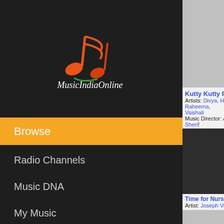[Figure (logo): MusicIndiaOnline MIO logo with musical note in orange and green, script text 'MusicIndiaOnline' and 'MIO' below]
Browse
Radio Channels
Music DNA
My Music
Help
PLAYLISTS
[Figure (screenshot): Album art placeholder (gray rectangle) for Kutty Kutty Papa]
Kutty Kutty Papa
Artists: Divya, Hari Pr Raheema, Vaishali
Music Director: A. Taj Sherif
[Figure (screenshot): Album art placeholder (gray rectangle) for Time for Nursery R]
Time for Nursery R
Artist: Joseph Vijay